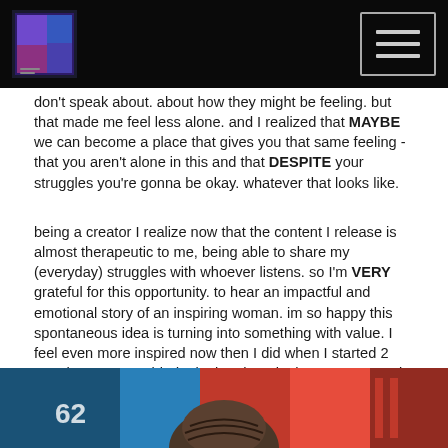Podcast logo and navigation menu
don't speak about. about how they might be feeling. but that made me feel less alone. and I realized that MAYBE we can become a place that gives you that same feeling - that you aren't alone in this and that DESPITE your struggles you're gonna be okay. whatever that looks like.
being a creator I realize now that the content I release is almost therapeutic to me, being able to share my (everyday) struggles with whoever listens. so I'm VERY grateful for this opportunity. to hear an impactful and emotional story of an inspiring woman. im so happy this spontaneous idea is turning into something with value. I feel even more inspired now then I did when I started 2 months ago. I rambled a lot but the take home message is: this podcast is providing me a lot and I'm going to continue trying to fight the stigma and encourage more impactful conversations like the one I had yesterday.
[Figure (photo): A person photographed from behind/above in what appears to be a sports or casual setting with colorful background elements including jersey number 62]